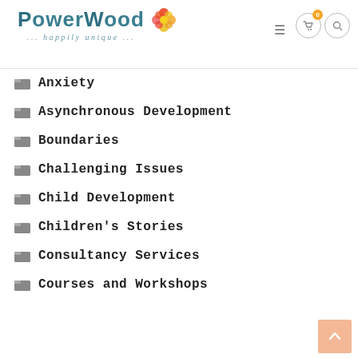PowerWood ... happily unique ...
Anxiety
Asynchronous Development
Boundaries
Challenging Issues
Child Development
Children's Stories
Consultancy Services
Courses and Workshops